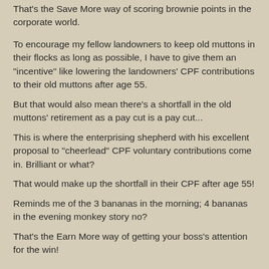That's the Save More way of scoring brownie points in the corporate world.
To encourage my fellow landowners to keep old muttons in their flocks as long as possible, I have to give them an "incentive" like lowering the landowners' CPF contributions to their old muttons after age 55.
But that would also mean there's a shortfall in the old muttons' retirement as a pay cut is a pay cut...
This is where the enterprising shepherd with his excellent proposal to "cheerlead" CPF voluntary contributions come in. Brilliant or what?
That would make up the shortfall in their CPF after age 55!
Reminds me of the 3 bananas in the morning; 4 bananas in the evening monkey story no?
That's the Earn More way of getting your boss's attention for the win!